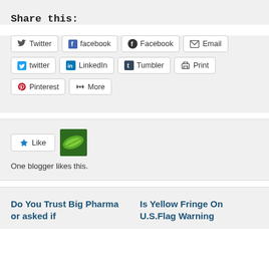Share this:
Twitter, facebook, Facebook, Email, twitter, LinkedIn, Tumbler, Print, Pinterest, More
[Figure (other): Like button and blogger avatar thumbnail (green leaf image)]
One blogger likes this.
Do You Trust Big Pharma or asked if
Is Yellow Fringe On U.S.Flag Warning